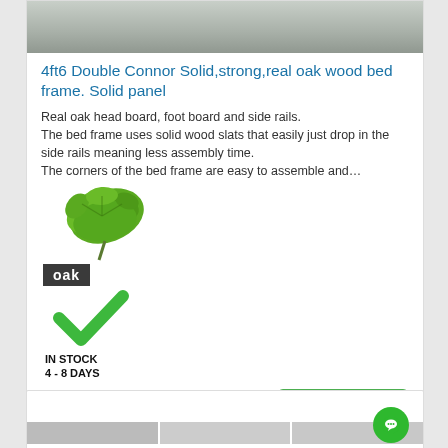[Figure (photo): Partial product image of a bed frame / rug on wooden floor, cropped at top]
4ft6 Double Connor Solid,strong,real oak wood bed frame. Solid panel
Real oak head board, foot board and side rails.
The bed frame uses solid wood slats that easily just drop in the side rails meaning less assembly time.
The corners of the bed frame are easy to assemble and…
[Figure (logo): Oak brand logo: green oak leaf illustration above dark label reading 'oak', with a green checkmark below and text 'IN STOCK 4 - 8 DAYS']
£439.99
More Info
[Figure (screenshot): Bottom partial product card with thumbnail images strip]